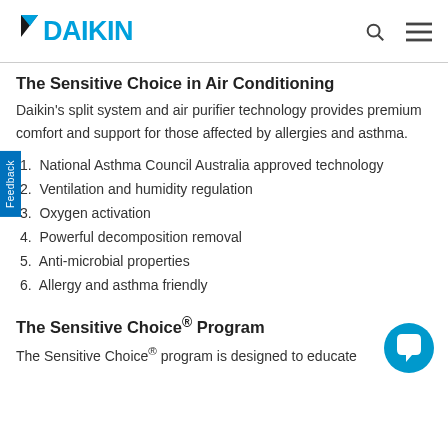DAIKIN
The Sensitive Choice in Air Conditioning
Daikin’s split system and air purifier technology provides premium comfort and support for those affected by allergies and asthma.
1. National Asthma Council Australia approved technology
2. Ventilation and humidity regulation
3. Oxygen activation
4. Powerful decomposition removal
5. Anti-microbial properties
6. Allergy and asthma friendly
The Sensitive Choice® Program
The Sensitive Choice® program is designed to educate